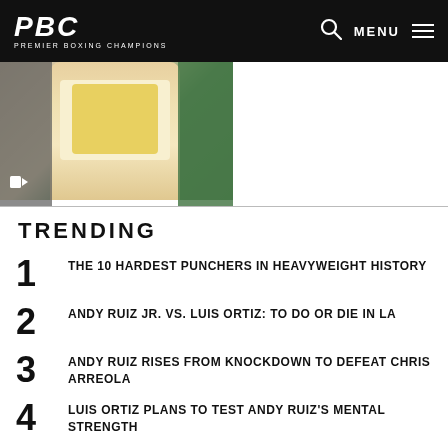PBC PREMIER BOXING CHAMPIONS — MENU
[Figure (photo): Photo of a boxer or person wearing a yellow vest and white shirt at a press event, with a video camera icon overlay in the bottom left corner.]
TRENDING
1 THE 10 HARDEST PUNCHERS IN HEAVYWEIGHT HISTORY
2 ANDY RUIZ JR. VS. LUIS ORTIZ: TO DO OR DIE IN LA
3 ANDY RUIZ RISES FROM KNOCKDOWN TO DEFEAT CHRIS ARREOLA
4 LUIS ORTIZ PLANS TO TEST ANDY RUIZ'S MENTAL STRENGTH